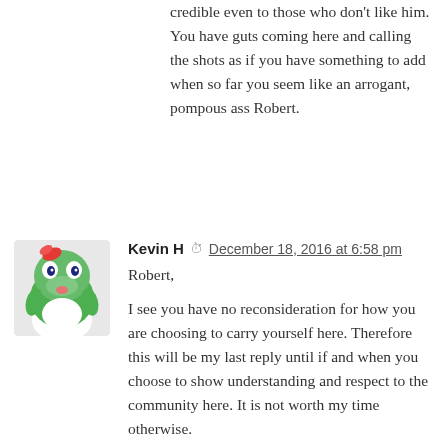credible even to those who don't like him. You have guts coming here and calling the shots as if you have something to add when so far you seem like an arrogant, pompous ass Robert.
Kevin H   December 18, 2016 at 6:58 pm
Robert,

I see you have no reconsideration for how you are choosing to carry yourself here. Therefore this will be my last reply until if and when you choose to show understanding and respect to the community here. It is not worth my time otherwise.

Again, I do attend CC Philly. It is not my first choice of churches but I attend for the consideration of others. I will not expound further, most especially since you show no concern for understanding my situation, only to give condescending mandates. There are good things about the church and I have spoken about them here before but I will